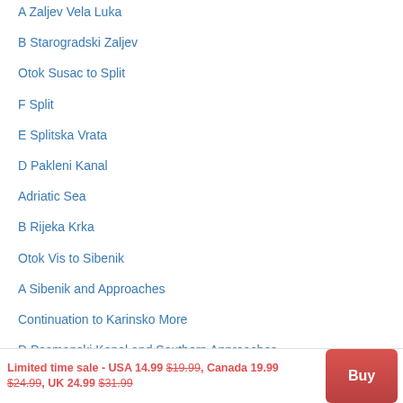A Zaljev Vela Luka
B Starogradski Zaljev
Otok Susac to Split
F Split
E Splitska Vrata
D Pakleni Kanal
Adriatic Sea
B Rijeka Krka
Otok Vis to Sibenik
A Sibenik and Approaches
Continuation to Karinsko More
D Pasmanski Kanal and Southern Approaches
Rogoznica to Zadar
Zadar
Limited time sale - USA 14.99 $19.99, Canada 19.99 $24.99, UK 24.99 $31.99